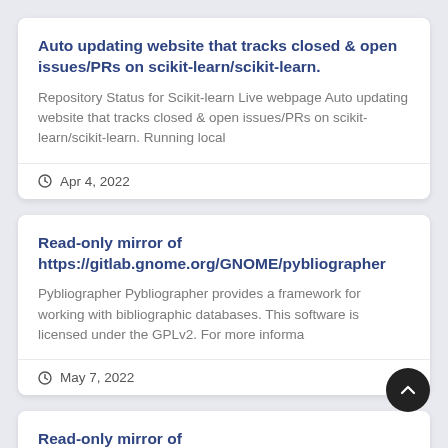Auto updating website that tracks closed & open issues/PRs on scikit-learn/scikit-learn.
Repository Status for Scikit-learn Live webpage Auto updating website that tracks closed & open issues/PRs on scikit-learn/scikit-learn. Running local
Apr 4, 2022
Read-only mirror of https://gitlab.gnome.org/GNOME/pybliographer
Pybliographer Pybliographer provides a framework for working with bibliographic databases. This software is licensed under the GPLv2. For more informa
May 7, 2022
Read-only mirror of https://gitlab.gnome.org/GNOME/meld